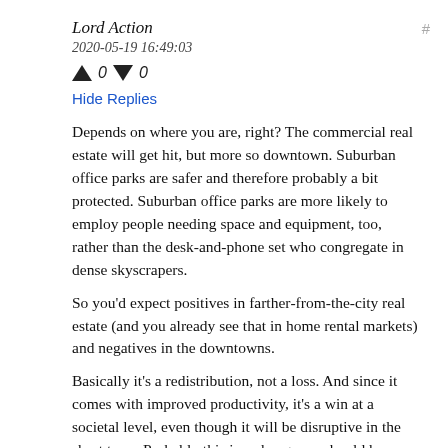Lord Action
2020-05-19 16:49:03
↑ 0 ↓ 0
Hide Replies
Depends on where you are, right? The commercial real estate will get hit, but more so downtown. Suburban office parks are safer and therefore probably a bit protected. Suburban office parks are more likely to employ people needing space and equipment, too, rather than the desk-and-phone set who congregate in dense skyscrapers.
So you'd expect positives in farther-from-the-city real estate (and you already see that in home rental markets) and negatives in the downtowns.
Basically it's a redistribution, not a loss. And since it comes with improved productivity, it's a win at a societal level, even though it will be disruptive in the short term. Probably this is a change we should have gone through anyway without COVID...